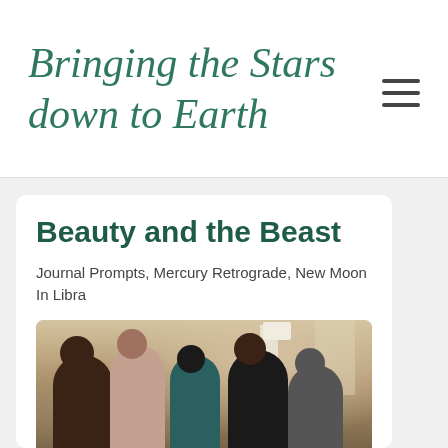Bringing the Stars down to Earth
Beauty and the Beast
Journal Prompts, Mercury Retrograde, New Moon In Libra
[Figure (photo): Group of five diverse people sitting together indoors, smiling and engaged in conversation. A lamp and window are visible in the background.]